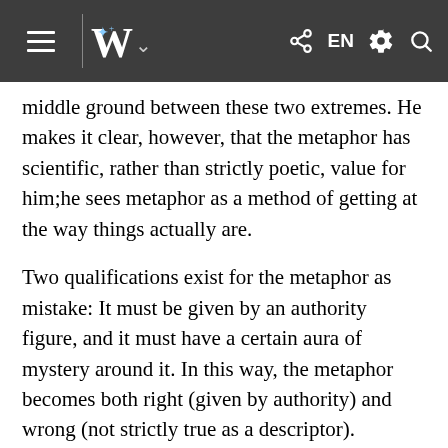Wikipedia mobile navigation bar with hamburger menu, Wikipedia W logo, share, EN, settings, and search icons
middle ground between these two extremes. He makes it clear, however, that the metaphor has scientific, rather than strictly poetic, value for him;he sees metaphor as a method of getting at the way things actually are.
Two qualifications exist for the metaphor as mistake: It must be given by an authority figure, and it must have a certain aura of mystery around it. In this way, the metaphor becomes both right (given by authority) and wrong (not strictly true as a descriptor).
Percy's example is of a boy on a hunting trip who sees a bird and asks what it is. The African-American accompanying him and his father calls the bird a blue dollar, which excites the boy until his father corrects him and tells him the bird is actually a blue darter. The